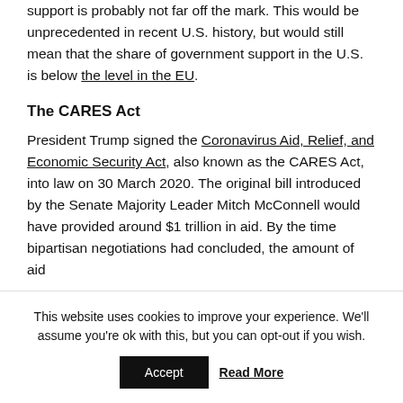support is probably not far off the mark. This would be unprecedented in recent U.S. history, but would still mean that the share of government support in the U.S. is below the level in the EU.
The CARES Act
President Trump signed the Coronavirus Aid, Relief, and Economic Security Act, also known as the CARES Act, into law on 30 March 2020. The original bill introduced by the Senate Majority Leader Mitch McConnell would have provided around $1 trillion in aid. By the time bipartisan negotiations had concluded, the amount of aid
This website uses cookies to improve your experience. We'll assume you're ok with this, but you can opt-out if you wish.